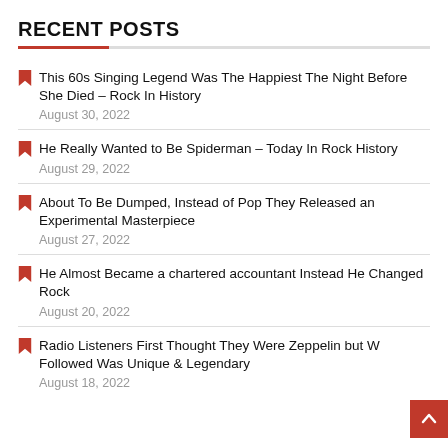RECENT POSTS
This 60s Singing Legend Was The Happiest The Night Before She Died – Rock In History
August 30, 2022
He Really Wanted to Be Spiderman – Today In Rock History
August 29, 2022
About To Be Dumped, Instead of Pop They Released an Experimental Masterpiece
August 27, 2022
He Almost Became a chartered accountant Instead He Changed Rock
August 20, 2022
Radio Listeners First Thought They Were Zeppelin but What Followed Was Unique & Legendary
August 18, 2022